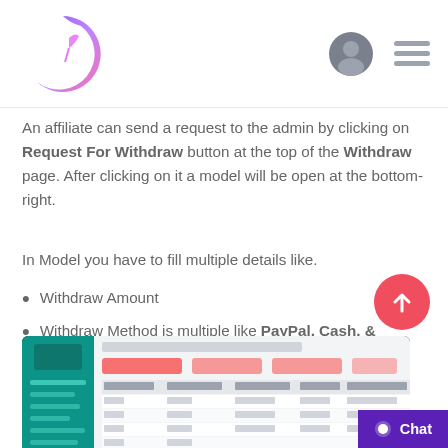[Figure (logo): Crescent moon logo with stylized letter 'i' — gradient purple/pink circle and feather-like accent]
An affiliate can send a request to the admin by clicking on Request For Withdraw button at the top of the Withdraw page. After clicking on it a model will be open at the bottom-right.
In Model you have to fill multiple details like.
Withdraw Amount
Withdraw Method is multiple like PayPal, Cash, & Stripe
[Figure (screenshot): Screenshot of an affiliate dashboard showing a data table with columns for withdraw info, with teal/green sidebar navigation and pink/red action buttons]